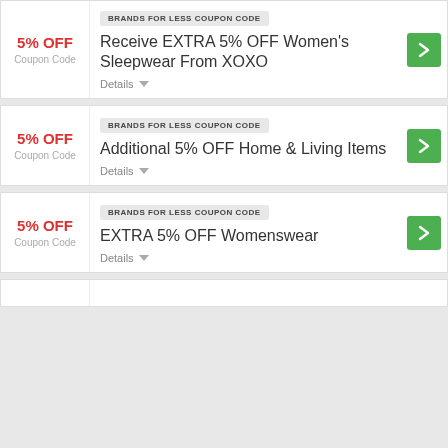BRANDS FOR LESS COUPON CODE
5% OFF
Coupon Code
Receive EXTRA 5% OFF Women's Sleepwear From XOXO
Details
BRANDS FOR LESS COUPON CODE
5% OFF
Coupon Code
Additional 5% OFF Home & Living Items
Details
BRANDS FOR LESS COUPON CODE
5% OFF
Coupon Code
EXTRA 5% OFF Womenswear
Details